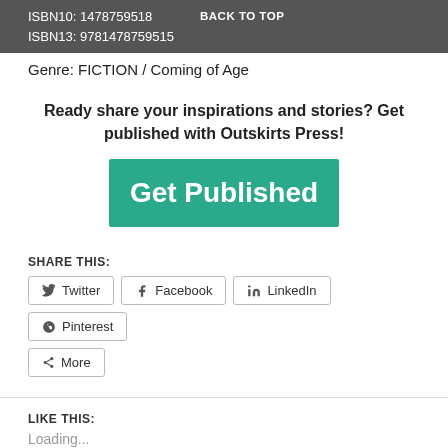ISBN10: 1478759518  BACK TO TOP
ISBN13: 9781478759515
ISBN10: 1478759518
ISBN13: 9781478759515
Genre: FICTION / Coming of Age
Ready share your inspirations and stories? Get published with Outskirts Press!
[Figure (other): Green 'Get Published' button]
SHARE THIS:
Twitter
Facebook
LinkedIn
Pinterest
More
LIKE THIS:
Loading...